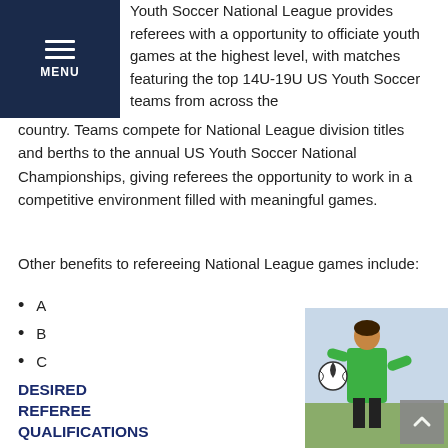MENU
Youth Soccer National League provides referees with a opportunity to officiate youth games at the highest level, with matches featuring the top 14U-19U US Youth Soccer teams from across the country. Teams compete for National League division titles and berths to the annual US Youth Soccer National Championships, giving referees the opportunity to work in a competitive environment filled with meaningful games.
Other benefits to refereeing National League games include:
A
B
C
DESIRED REFEREE QUALIFICATIONS
The National League is looking for Grade X, Y, Z referees...
[Figure (photo): Female soccer referee in green uniform holding a soccer ball on a field]